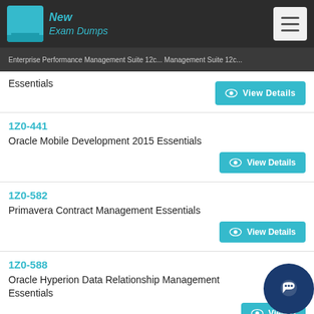New Exam Dumps
Enterprise Performance Management Suite 12c... Essentials
View Details
1Z0-441
Oracle Mobile Development 2015 Essentials
View Details
1Z0-582
Primavera Contract Management Essentials
View Details
1Z0-588
Oracle Hyperion Data Relationship Management Essentials
View Details
1Z0-590
Oracle VM 3 for x86 Essentials